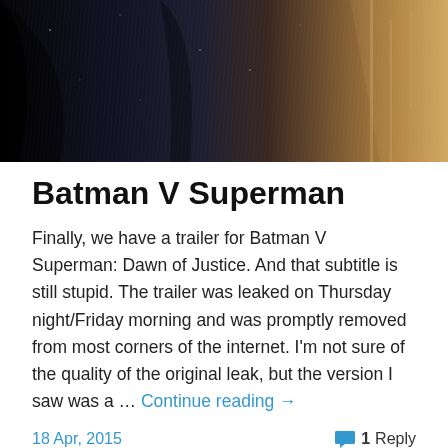[Figure (photo): Dark movie poster image for Batman V Superman: Dawn of Justice, showing silhouettes against a stormy, rain-streaked background with dark and golden tones]
Batman V Superman
Finally, we have a trailer for Batman V Superman: Dawn of Justice. And that subtitle is still stupid. The trailer was leaked on Thursday night/Friday morning and was promptly removed from most corners of the internet. I'm not sure of the quality of the original leak, but the version I saw was a … Continue reading →
18 Apr, 2015   1 Reply
[Figure (other): Row of social media icons: Twitter (blue bird), Facebook (blue F), Search (grey magnifying glass), Edit/pen (grey), Instagram (pink/magenta), Spotify (green)]